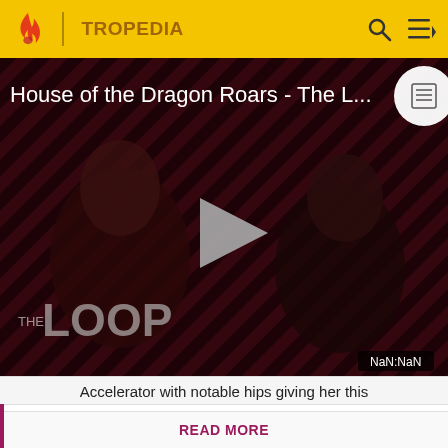TROPEDIA
[Figure (screenshot): Video thumbnail for 'House of the Dragon Roars - The L...' showing two people with diagonal red and dark stripe background, a play button in the center, 'THE LOOP' text overlay, and 'NaN:NaN' timestamp badge]
Accelerator with notable hips giving her this
Before making a single edit, Tropedia EXPECTS our site policy and manual of style to be followed. Failure to do so may
READ MORE